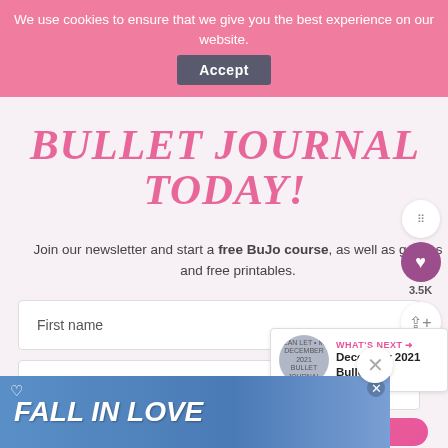We use cookies to ensure that we give you the best experience on our website. Accept
BULLET JOURNAL TODAY!
Join our newsletter and start a free BuJo course, as well as get tips and free printables.
First name
Email address
FALL IN LOVE
WHAT'S NEXT → December 2021 Bullet...